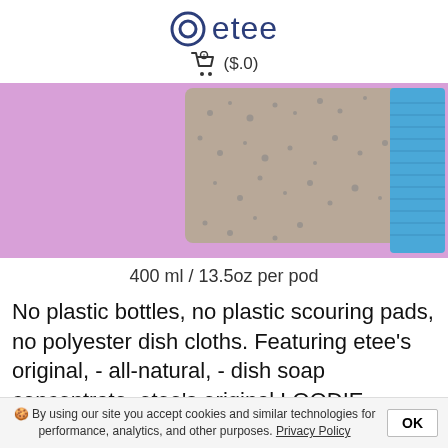etee
🛒 ($.0)
[Figure (photo): Photo of a natural loofah scouring pad and a blue dish cloth on a pink/lavender background]
400 ml / 13.5oz per pod
No plastic bottles, no plastic scouring pads, no polyester dish cloths. Featuring etee's original, - all-natural, - dish soap concentrate, etee's original LOODIE scouring pad (half loofa...
🍪 By using our site you accept cookies and similar technologies for performance, analytics, and other purposes. Privacy Policy